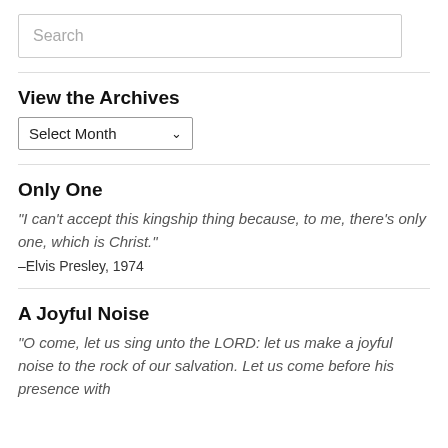Search
View the Archives
Select Month
Only One
“I can’t accept this kingship thing because, to me, there’s only one, which is Christ.”
–Elvis Presley, 1974
A Joyful Noise
“O come, let us sing unto the LORD: let us make a joyful noise to the rock of our salvation. Let us come before his presence with